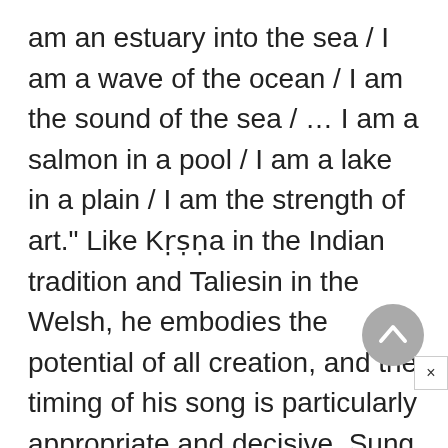am an estuary into the sea / I am a wave of the ocean / I am the sound of the sea / … I am a salmon in a pool / I am a lake in a plain / I am the strength of art." Like Kṛṣṇa in the Indian tradition and Taliesin in the Welsh, he embodies the potential of all creation, and the timing of his song is particularly appropriate and decisive. Sung as he arrives at the land's edge from the ocean of nonexistence, his words are the prelude to the creation of a new order of which he is the